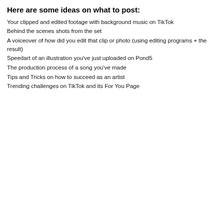Here are some ideas on what to post:
Your clipped and edited footage with background music on TikTok
Behind the scenes shots from the set
A voiceover of how did you edit that clip or photo (using editing programs + the result)
Speedart of an illustration you've just uploaded on Pond5
The production process of a song you've made
Tips and Tricks on how to succeed as an artist
Trending challenges on TikTok and its For You Page